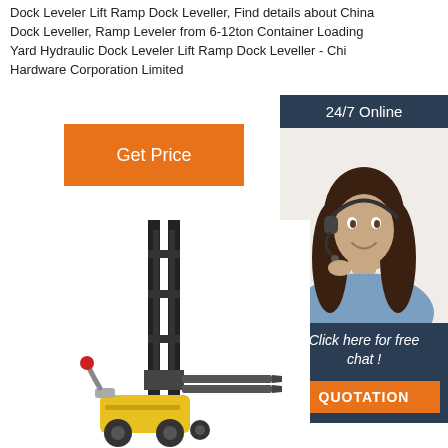Dock Leveler Lift Ramp Dock Leveller, Find details about China Dock Leveller, Ramp Leveler from 6-12ton Container Loading Yard Hydraulic Dock Leveler Lift Ramp Dock Leveller - Chi Hardware Corporation Limited
[Figure (other): Orange 'Get Price' button]
[Figure (other): 24/7 Online customer support sidebar with woman wearing headset, 'Click here for free chat!' text and orange QUOTATION button]
[Figure (photo): Forklift / pallet stacker machine with yellow base and black mast with forks extended]